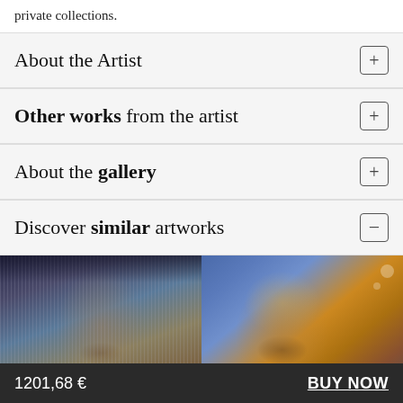private collections.
About the Artist
Other works from the artist
About the gallery
Discover similar artworks
[Figure (photo): Two artwork images side by side: left shows a portrait of a young woman with vertical line texture overlay; right shows an abstract face painting in blue and orange tones.]
1201,68 €   BUY NOW